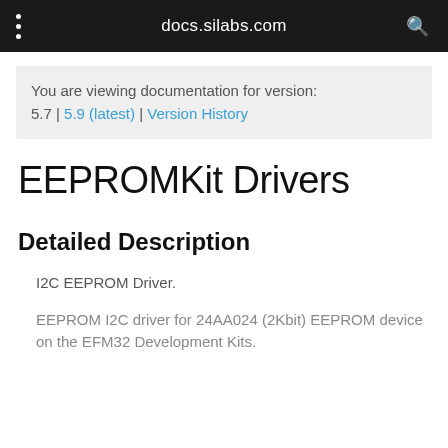docs.silabs.com
You are viewing documentation for version: 5.7 | 5.9 (latest) | Version History
EEPROMKit Drivers
Detailed Description
I2C EEPROM Driver.
EEPROM I2C driver for 24AA024 (2Kbit) EEPROM device on the EFM32 Development Kits.